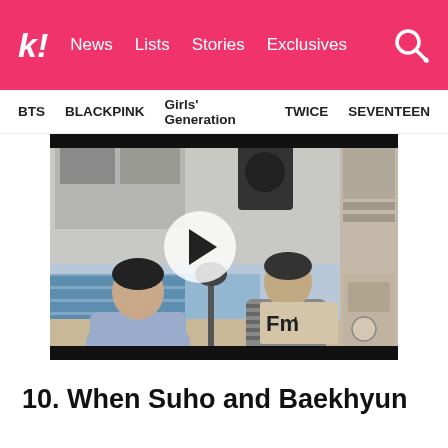k! News Lists Stories Exclusives
BTS  BLACKPINK  Girls' Generation  TWICE  SEVENTEEN
[Figure (photo): Video thumbnail showing two men sitting at a radio studio desk with microphones, with a circular play button overlay. The studio shows FM radio equipment and signage.]
10. When Suho and Baekhyun